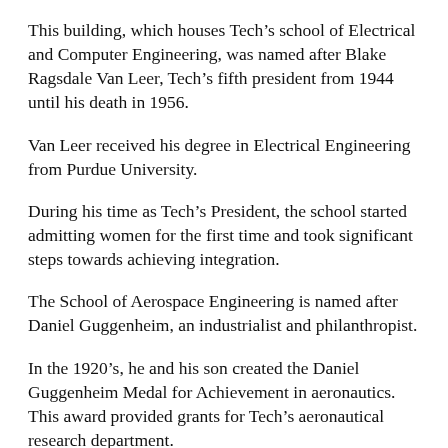This building, which houses Tech’s school of Electrical and Computer Engineering, was named after Blake Ragsdale Van Leer, Tech’s fifth president from 1944 until his death in 1956.
Van Leer received his degree in Electrical Engineering from Purdue University.
During his time as Tech’s President, the school started admitting women for the first time and took significant steps towards achieving integration.
The School of Aerospace Engineering is named after Daniel Guggenheim, an industrialist and philanthropist.
In the 1920’s, he and his son created the Daniel Guggenheim Medal for Achievement in aeronautics. This award provided grants for Tech’s aeronautical research department.
Originally named the Georgia Tech Theater for the Arts